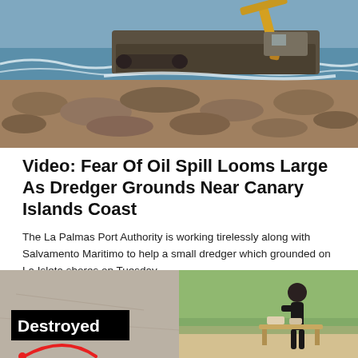[Figure (photo): A dredger vessel grounded on a rocky shoreline near Canary Islands coast, with ocean waves visible in the background and excavator machinery on board]
Video: Fear Of Oil Spill Looms Large As Dredger Grounds Near Canary Islands Coast
The La Palmas Port Authority is working tirelessly along with Salvamento Maritimo to help a small dredger which grounded on La Isleta shores on Tuesday.
[Figure (photo): Two thumbnail images side by side: left shows a photo with a black label reading 'Destroyed' with a red arc/circle element; right shows a person working outdoors on a beach or sandy area]